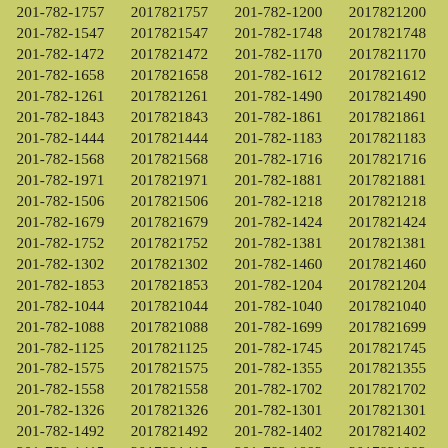| Phone | ID | Phone | ID |
| --- | --- | --- | --- |
| 201-782-1757 | 2017821757 | 201-782-1200 | 2017821200 |
| 201-782-1547 | 2017821547 | 201-782-1748 | 2017821748 |
| 201-782-1472 | 2017821472 | 201-782-1170 | 2017821170 |
| 201-782-1658 | 2017821658 | 201-782-1612 | 2017821612 |
| 201-782-1261 | 2017821261 | 201-782-1490 | 2017821490 |
| 201-782-1843 | 2017821843 | 201-782-1861 | 2017821861 |
| 201-782-1444 | 2017821444 | 201-782-1183 | 2017821183 |
| 201-782-1568 | 2017821568 | 201-782-1716 | 2017821716 |
| 201-782-1971 | 2017821971 | 201-782-1881 | 2017821881 |
| 201-782-1506 | 2017821506 | 201-782-1218 | 2017821218 |
| 201-782-1679 | 2017821679 | 201-782-1424 | 2017821424 |
| 201-782-1752 | 2017821752 | 201-782-1381 | 2017821381 |
| 201-782-1302 | 2017821302 | 201-782-1460 | 2017821460 |
| 201-782-1853 | 2017821853 | 201-782-1204 | 2017821204 |
| 201-782-1044 | 2017821044 | 201-782-1040 | 2017821040 |
| 201-782-1088 | 2017821088 | 201-782-1699 | 2017821699 |
| 201-782-1125 | 2017821125 | 201-782-1745 | 2017821745 |
| 201-782-1575 | 2017821575 | 201-782-1355 | 2017821355 |
| 201-782-1558 | 2017821558 | 201-782-1702 | 2017821702 |
| 201-782-1326 | 2017821326 | 201-782-1301 | 2017821301 |
| 201-782-1492 | 2017821492 | 201-782-1402 | 2017821402 |
| 201-782-1415 | 2017821415 | 201-782-1882 | 2017821882 |
| 201-782-1925 | 2017821925 | 201-782-1344 | 2017821344 |
| 201-782-1856 | 2017821856 | 201-782-1961 | 2017821961 |
| 201-782-1211 | 2017821211 | 201-782-1464 | 2017821464 |